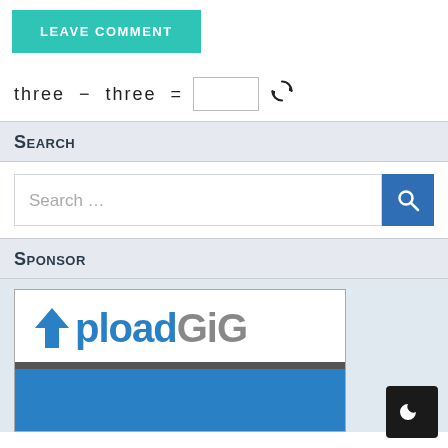LEAVE COMMENT
three − three =
Search
Search ...
Sponsor
[Figure (logo): UploadGig logo with blue arrow-up icon and text, followed by blue lower section]